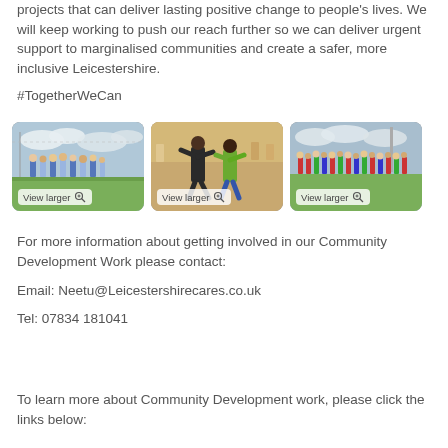projects that can deliver lasting positive change to people's lives. We will keep working to push our reach further so we can deliver urgent support to marginalised communities and create a safer, more inclusive Leicestershire.
#TogetherWeCan
[Figure (photo): Three photos showing community sports events: youth football team outdoors, indoor martial arts/sports session, and group of people in sports kit outdoors. Each photo has a 'View larger' button overlay.]
For more information about getting involved in our Community Development Work please contact:
Email: Neetu@Leicestershirecares.co.uk
Tel: 07834 181041
To learn more about Community Development work, please click the links below: